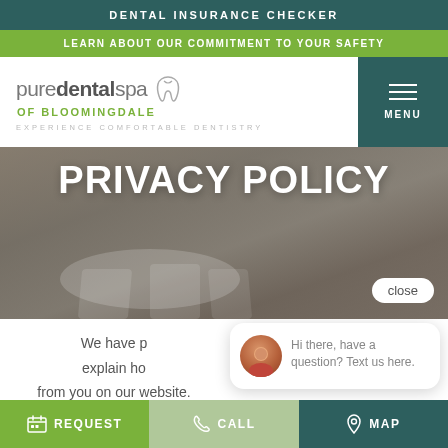DENTAL INSURANCE CHECKER
LEARN ABOUT OUR COMMITMENT TO YOUR SAFETY
[Figure (logo): Pure Dental Spa of Bloomingdale logo with tooth icon and tagline EXPERIENCE COMFORTABLE DENTISTRY]
PRIVACY POLICY
[Figure (screenshot): Chat popup overlay: avatar of a woman, text 'Hi there, have a question? Text us here.' with a blue chat icon button and a close button]
We have p... explain how... from you on our website.
REQUEST   CALL   MAP